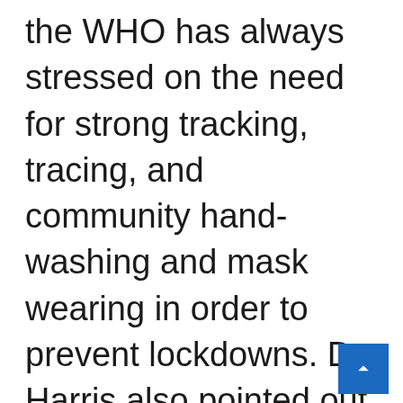the WHO has always stressed on the need for strong tracking, tracing, and community hand-washing and mask wearing in order to prevent lockdowns. Dr. Harris also pointed out that the WHO has